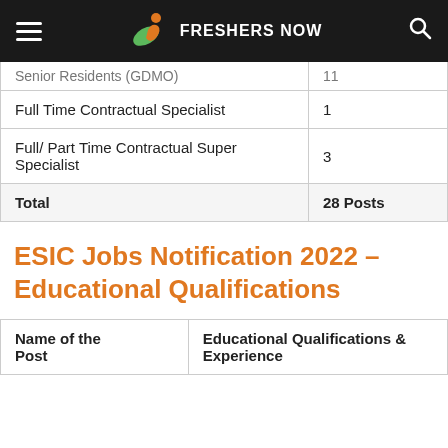FRESHERS NOW
| Post Name | Count |
| --- | --- |
| Senior Residents (GDMO) | 11 |
| Full Time Contractual Specialist | 1 |
| Full/ Part Time Contractual Super Specialist | 3 |
| Total | 28 Posts |
ESIC Jobs Notification 2022 – Educational Qualifications
| Name of the Post | Educational Qualifications & Experience |
| --- | --- |